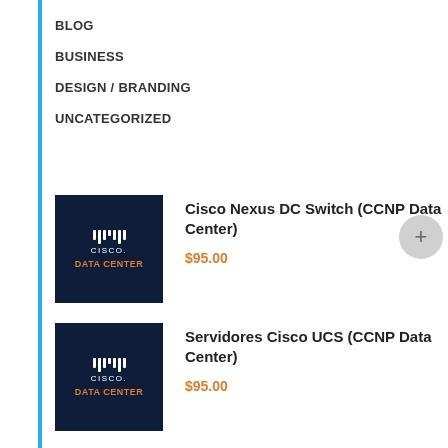BLOG
BUSINESS
DESIGN / BRANDING
UNCATEGORIZED
[Figure (logo): Cisco Data Center dark navy logo with orange DATA CENTER text]
Cisco Nexus DC Switch (CCNP Data Center)
$95.00
[Figure (logo): Cisco Data Center dark navy logo with orange DATA CENTER text]
Servidores Cisco UCS (CCNP Data Center)
$95.00
[Figure (logo): CompTIA red logo thumbnail, partially visible]
Especialista Técnico en TI (CompTIA A+)